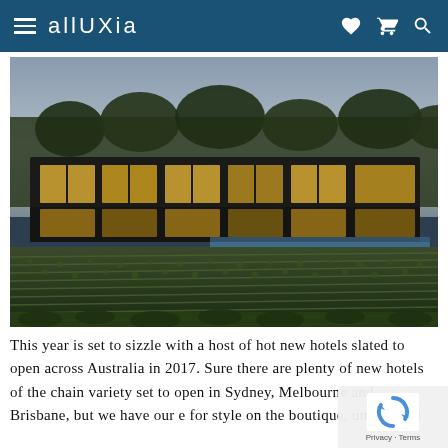alluXia
[Figure (photo): Aerial/elevated view of a modern boutique hotel building with large glass windows and warm interior lighting, surrounded by rows of vineyard vines in the foreground and trees in the background, taken at dusk.]
This year is set to sizzle with a host of hot new hotels slated to open across Australia in 2017. Sure there are plenty of new hotels of the chain variety set to open in Sydney, Melbourne and Brisbane, but we have our e for style on the boutique, unique and